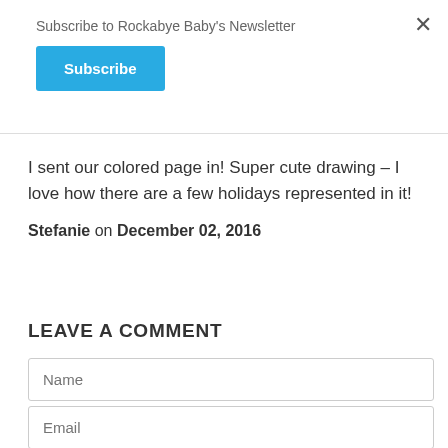Subscribe to Rockabye Baby's Newsletter
[Figure (other): Blue Subscribe button]
I sent our colored page in! Super cute drawing – I love how there are a few holidays represented in it!
Stefanie on December 02, 2016
LEAVE A COMMENT
Name
Email